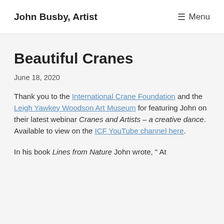John Busby, Artist   ☰ Menu
Beautiful Cranes
June 18, 2020
Thank you to the International Crane Foundation and the Leigh Yawkey Woodson Art Museum for featuring John on their latest webinar Cranes and Artists – a creative dance. Available to view on the ICF YouTube channel here.
In his book Lines from Nature John wrote, " At